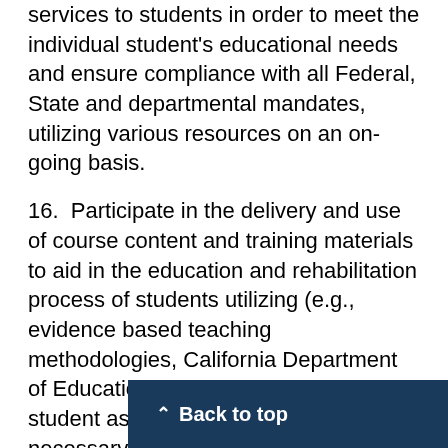services to students in order to meet the individual student's educational needs and ensure compliance with all Federal, State and departmental mandates, utilizing various resources on an on-going basis.
16.  Participate in the delivery and use of course content and training materials to aid in the education and rehabilitation process of students utilizing (e.g., evidence based teaching methodologies, California Department of Education Curriculum Standards, and student assessment results/scores) as necessary.
17.  Gather information and documentation needed in order to purchase equipment, instructional materials and supplies, to meet the needs of students and faculty/staff, utilizing the procurement process as required.
18.  Monitor all classroom and or sho... materials and equipment to ensure against loss,